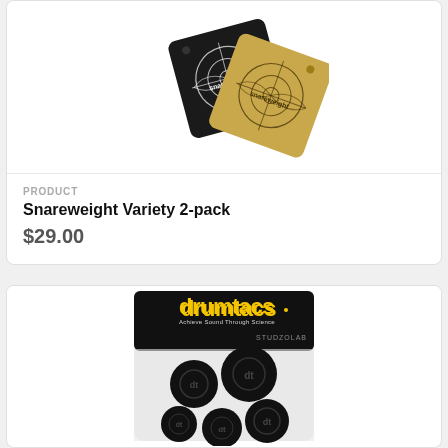[Figure (photo): Two Snareweight pads - one black square and one gold/tan square, each with the Snareweight logo (crosshair/target design), shown overlapping at a diagonal angle on white background]
PRODUCT
Snareweight Variety 2-pack
$29.00
[Figure (photo): Drumtacs studio lab product packaging showing a clear blister pack with black header card branded 'drumtacs' in yellow/orange text, containing 5 round black rubber/gel drum dampening pads with embossed logos]